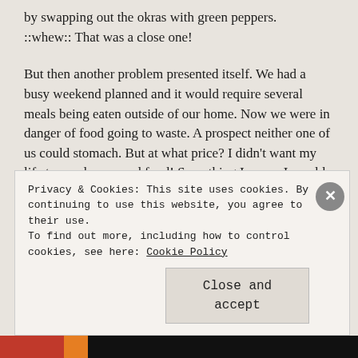by swapping out the okras with green peppers. ::whew:: That was a close one!
But then another problem presented itself. We had a busy weekend planned and it would require several meals being eaten outside of our home. Now we were in danger of food going to waste. A prospect neither one of us could stomach. But at what price? I didn't want my life to revolve around food! Something I swore I would never do! Plus, it's still nice out! I socially hibernate during cold weather so I have to get all my socializing in now before I have
Privacy & Cookies: This site uses cookies. By continuing to use this website, you agree to their use.
To find out more, including how to control cookies, see here: Cookie Policy
Close and accept